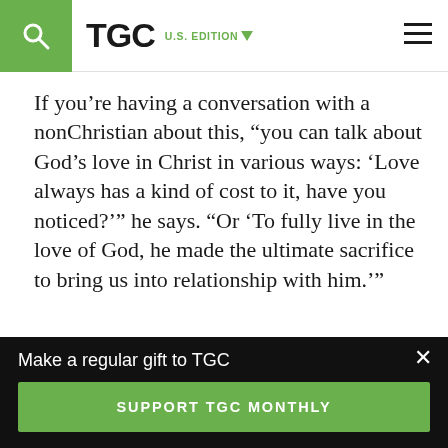TGC U.S. EDITION
If you’re having a conversation with a nonChristian about this, “you can talk about God’s love in Christ in various ways: ‘Love always has a kind of cost to it, have you noticed?’” he says. “Or ‘To fully live in the love of God, he made the ultimate sacrifice to bring us into relationship with him.’”
And then the kicker
Make a regular gift to TGC
SUPPORT TGC MONTHLY